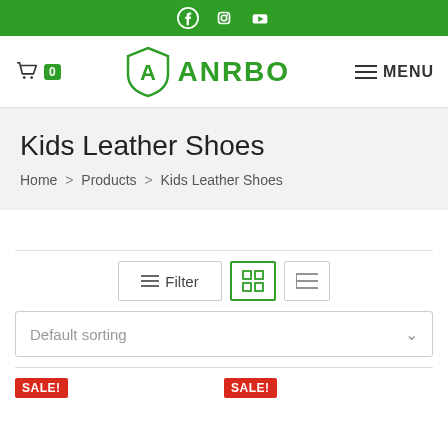Social media icons: Facebook, Instagram, YouTube
[Figure (logo): ANRBO logo with shield emblem and green text]
Kids Leather Shoes
Home > Products > Kids Leather Shoes
Filter | Grid view | List view | Default sorting